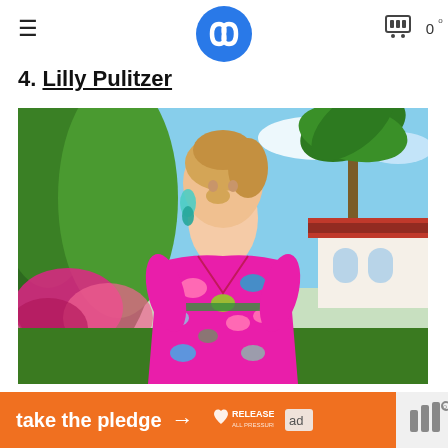≡  [logo]  [cart] 0
4. Lilly Pulitzer
[Figure (photo): A blonde woman wearing a bright pink floral wrap dress with teal earrings, standing outdoors in front of tropical plants and a Spanish-style building with red tile roof.]
[Figure (infographic): Orange advertisement banner reading 'take the pledge' with an arrow, Release logo, and an 'ad' icon. Partial logo visible on right side.]